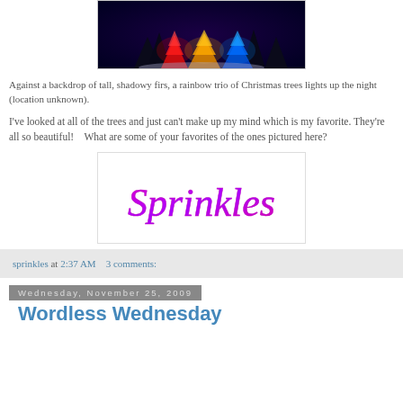[Figure (photo): Colorful Christmas trees lit up at night against dark shadowy fir trees in snow, showing red, yellow/orange, and blue/teal colored trees]
Against a backdrop of tall, shadowy firs, a rainbow trio of Christmas trees lights up the night (location unknown).
I've looked at all of the trees and just can't make up my mind which is my favorite. They're all so beautiful!   What are some of your favorites of the ones pictured here?
[Figure (logo): Sprinkles logo in decorative cursive pink/magenta script font on white background]
sprinkles at 2:37 AM   3 comments:
Wednesday, November 25, 2009
Wordless Wednesday